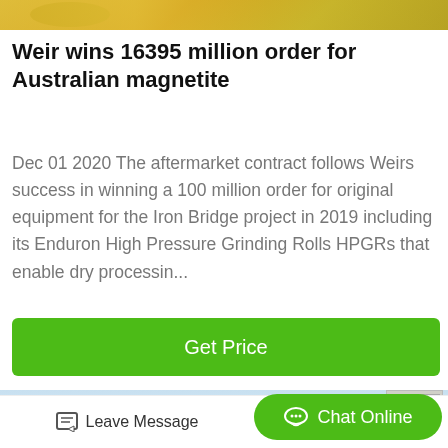[Figure (photo): Partial top image showing yellow-orange coloring, likely an industrial or mineral product]
Weir wins 16395 million order for Australian magnetite
Dec 01 2020 The aftermarket contract follows Weirs success in winning a 100 million order for original equipment for the Iron Bridge project in 2019 including its Enduron High Pressure Grinding Rolls HPGRs that enable dry processin...
Get Price
[Figure (photo): Photo of a Chinese industrial building or factory facade with Chinese characters displayed on the front]
Leave Message
Chat Online